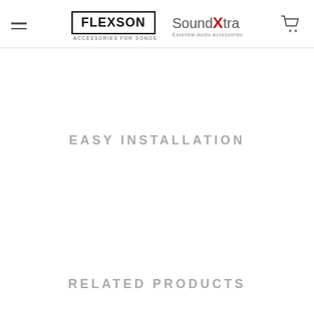FLEXSON | ACCESSORIES FOR SONOS | SoundXtra | Essential Audio Accessories
EASY INSTALLATION
RELATED PRODUCTS